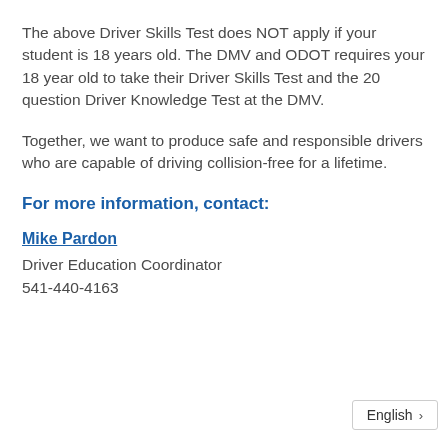The above Driver Skills Test does NOT apply if your student is 18 years old. The DMV and ODOT requires your 18 year old to take their Driver Skills Test and the 20 question Driver Knowledge Test at the DMV.
Together, we want to produce safe and responsible drivers who are capable of driving collision-free for a lifetime.
For more information, contact:
Mike Pardon
Driver Education Coordinator
541-440-4163